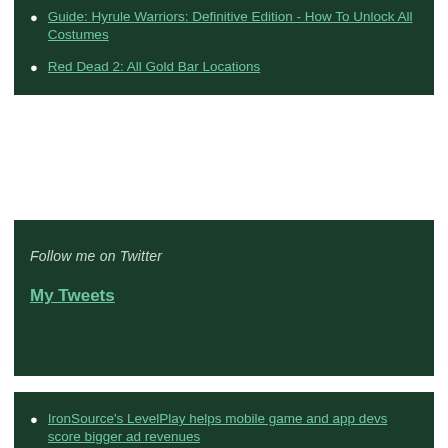Guide: Hyrule Warriors: Definitive Edition - How To Unlock All Costumes
Red Dead 2: All Gold Bar Locations
Follow me on Twitter
My Tweets
Recent Posts
IronSource's LevelPlay helps mobile game and app devs score bigger ad revenues October 1, 2020